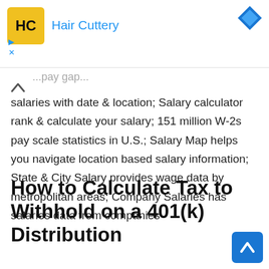[Figure (other): Hair Cuttery advertisement banner with yellow logo showing 'HC', brand name 'Hair Cuttery' in blue, and a blue diamond shape in upper right corner. Small blue triangle and X icons on the left.]
salaries with date & location; Salary calculator rank & calculate your salary; 151 million W-2s pay scale statistics in U.S.; Salary Map helps you navigate location based salary information; State & City Salary provides wage data by metropolitan areas; Company Salaries has salaries data from companies
How to Calculate Tax to Withhold on a 401(k) Distribution